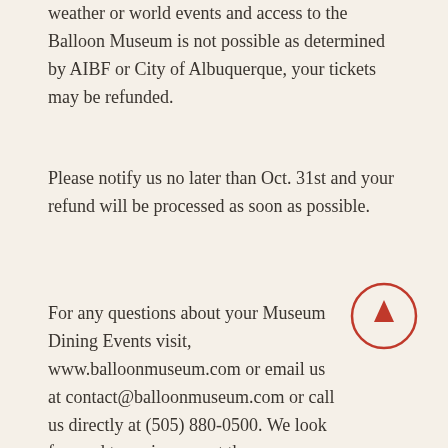weather or world events and access to the Balloon Museum is not possible as determined by AIBF or City of Albuquerque, your tickets may be refunded.
Please notify us no later than Oct. 31st and your refund will be processed as soon as possible.
For any questions about your Museum Dining Events visit, www.balloonmuseum.com or email us at contact@balloonmuseum.com or call us directly at (505) 880-0500. We look forward to seeing you at the Albuquerque International Balloon Museum during Balloon Fiesta!